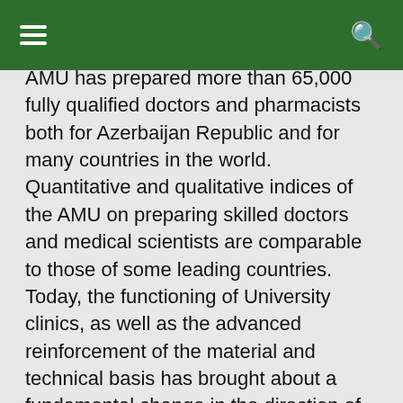≡   [hamburger menu]   🔍 [search]
AMU has prepared more than 65,000 fully qualified doctors and pharmacists both for Azerbaijan Republic and for many countries in the world. Quantitative and qualitative indices of the AMU on preparing skilled doctors and medical scientists are comparable to those of some leading countries. Today, the functioning of University clinics, as well as the advanced reinforcement of the material and technical basis has brought about a fundamental change in the direction of improving the quality of medical education to satisfy the needs and expectance of labour market.
Azerbaijan Medical University has got an administrative building, 6 teaching buildings, scientific-research centre, student canteen and buffets, health resort, a publishing house and newspaper, big sport complex with swimming pool, fundamental library and laboratories. At present more than 7 thousands students are studying at the 7